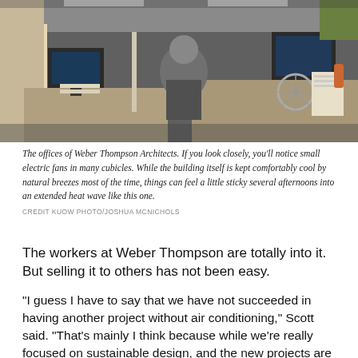[Figure (photo): Interior photo of the offices of Weber Thompson Architects, showing cubicles with designers working at desks, computers on desks, a standing fan visible, papers and monitors throughout the open office space.]
The offices of Weber Thompson Architects. If you look closely, you'll notice small electric fans in many cubicles. While the building itself is kept comfortably cool by natural breezes most of the time, things can feel a little sticky several afternoons into an extended heat wave like this one.
CREDIT KUOW PHOTO/JOSHUA MCNICHOLS
The workers at Weber Thompson are totally into it. But selling it to others has not been easy.
"I guess I have to say that we have not succeeded in having another project without air conditioning," Scott said. "That's mainly I think because while we're really focused on sustainable design, and the new projects are also, they're larger buildings."